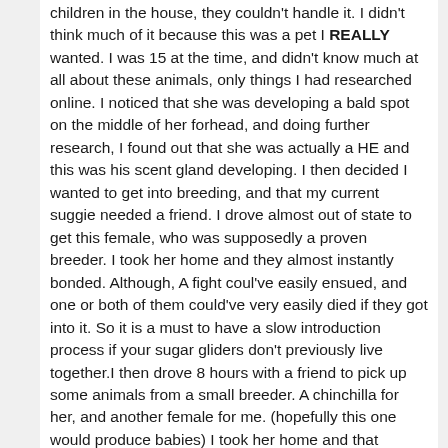children in the house, they couldn't handle it. I didn't think much of it because this was a pet I REALLY wanted. I was 15 at the time, and didn't know much at all about these animals, only things I had researched online. I noticed that she was developing a bald spot on the middle of her forhead, and doing further research, I found out that she was actually a HE and this was his scent gland developing. I then decided I wanted to get into breeding, and that my current suggie needed a friend. I drove almost out of state to get this female, who was supposedly a proven breeder. I took her home and they almost instantly bonded. Although, A fight coul've easily ensued, and one or both of them could've very easily died if they got into it. So it is a must to have a slow introduction process if your sugar gliders don't previously live together.I then drove 8 hours with a friend to pick up some animals from a small breeder. A chinchilla for her, and another female for me. (hopefully this one would produce babies) I took her home and that completed my trio of gliders.I quickly realized that I